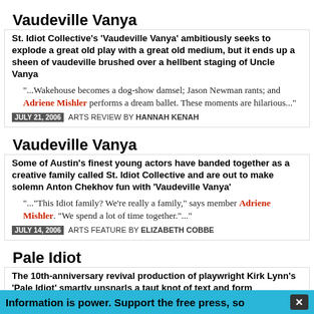Vaudeville Vanya
St. Idiot Collective's 'Vaudeville Vanya' ambitiously seeks to explode a great old play with a great old medium, but it ends up a sheen of vaudeville brushed over a hellbent staging of Uncle Vanya
"...Wakehouse becomes a dog-show damsel; Jason Newman rants; and Adriene Mishler performs a dream ballet. These moments are hilarious..."
JULY 21, 2006  ARTS REVIEW BY HANNAH KENAH
Vaudeville Vanya
Some of Austin's finest young actors have banded together as a creative family called St. Idiot Collective and are out to make solemn Anton Chekhov fun with 'Vaudeville Vanya'
"..."This Idiot family? We're really a family," says member Adriene Mishler. "We spend a lot of time together."..."
JULY 14, 2006  ARTS FEATURE BY ELIZABETH COBBE
Pale Idiot
The 10th-anniversary revival production of playwright Kirk Lynn's 'Pale Idiot' smartly unsnarls a taut knot of text and form
"...a vibrant moralist. Articulate and glowing as played by Adriene
Information is power. Support the free press, so